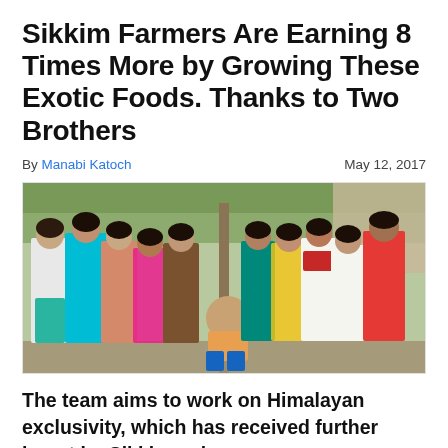Sikkim Farmers Are Earning 8 Times More by Growing These Exotic Foods. Thanks to Two Brothers
By Manabi Katoch   May 12, 2017
[Figure (photo): Group photo of approximately 12 people, mostly women in colorful traditional Indian attire, standing and one man crouching in front, outdoors near a pole with greenery in background.]
The team aims to work on Himalayan exclusivity, which has received further boost by Sikkim going